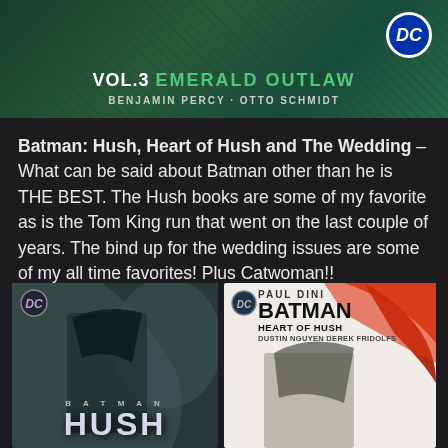[Figure (illustration): Comic book cover banner showing VOL.3 EMERALD OUTLAW by Benjamin Percy and Otto Schmidt, with DC logo, on a dark green textured background]
Batman: Hush, Heart of Hush and The Wedding – What can be said about Batman other than he is THE BEST. The Hush books are some of my favorite as is the Tom King run that went on the last couple of years. The bind up for the wedding issues are some of my all time favorites! Plus Catwoman!!
[Figure (illustration): Comic book cover of Batman: Hush showing Batman in dark tones with a stylized face in the background and HUSH text at the bottom]
[Figure (illustration): Comic book cover of Batman: Heart of Hush by Paul Dini, art by Dustin Nguyen and Derek Fridolfs, showing Batman with red and white paint strokes]